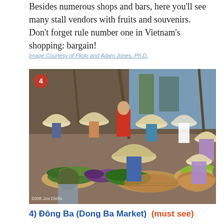Besides numerous shops and bars, here you'll see many stall vendors with fruits and souvenirs. Don't forget rule number one in Vietnam's shopping: bargain!
Image Courtesy of Flickr and Adam Jones, Ph.D.
[Figure (photo): Vietnamese market scene showing multiple women wearing traditional conical hats (non la) selling vegetables and fruits from baskets on the ground. Piles of eggplants, cucumbers, bananas, and other produce are visible. A number badge '4' appears in the upper left corner. Watermark reads '2008 Jos Dielis'.]
4) Đông Ba (Dong Ba Market)  (must see)